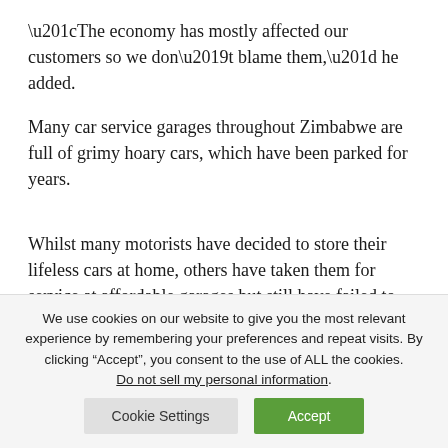“The economy has mostly affected our customers so we don’t blame them,” he added.
Many car service garages throughout Zimbabwe are full of grimy hoary cars, which have been parked for years.
Whilst many motorists have decided to store their lifeless cars at home, others have taken them for service at affordable garages but still have failed to pay due to changed circumstances
We use cookies on our website to give you the most relevant experience by remembering your preferences and repeat visits. By clicking “Accept”, you consent to the use of ALL the cookies. Do not sell my personal information.
Cookie Settings | Accept